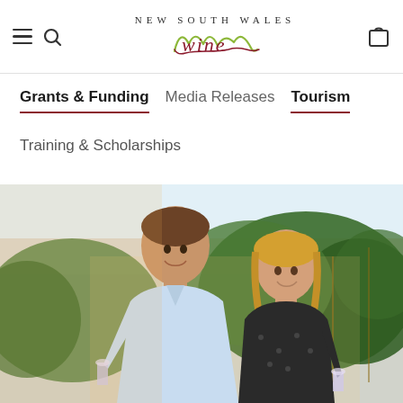NEW SOUTH WALES Wine — Navigation header with hamburger menu, search icon, logo, and bag icon
Grants & Funding   Media Releases   Tourism
Training & Scholarships
[Figure (photo): A man and woman standing in a vineyard at golden hour, both holding glasses of wine, smiling, with lush green grapevines in the background.]